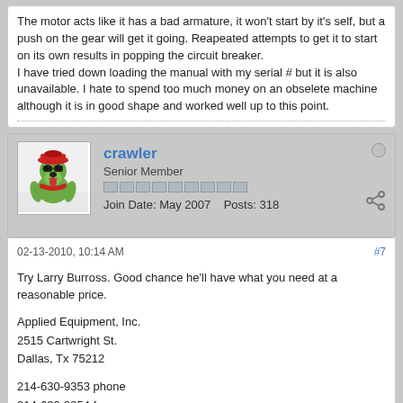The motor acts like it has a bad armature, it won't start by it's self, but a push on the gear will get it going. Reapeated attempts to get it to start on its own results in popping the circuit breaker.
I have tried down loading the manual with my serial # but it is also unavailable. I hate to spend too much money on an obselete machine although it is in good shape and worked well up to this point.
crawler
Senior Member
Join Date: May 2007    Posts: 318
02-13-2010, 10:14 AM
#7
Try Larry Burross. Good chance he'll have what you need at a reasonable price.

Applied Equipment, Inc.
2515 Cartwright St.
Dallas, Tx 75212

214-630-9353 phone
214-630-9354 fax
888-630-9353 toll-free
214-577-9353 cell